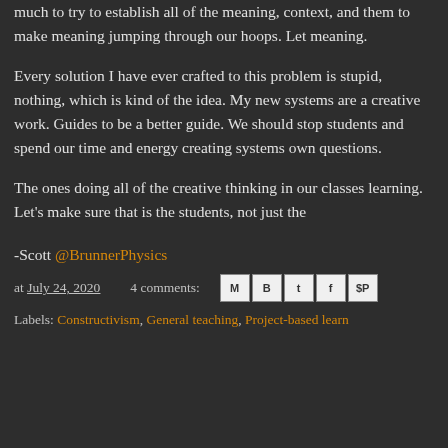much to try to establish all of the meaning, context, and them to make meaning jumping through our hoops. Let meaning.
Every solution I have ever crafted to this problem is stupid, nothing, which is kind of the idea. My new systems are a creative work. Guides to be a better guide. We should stop students and spend our time and energy creating systems own questions.
The ones doing all of the creative thinking in our classes learning. Let's make sure that is the students, not just the
-Scott @BrunnerPhysics
at July 24, 2020   4 comments:
Labels: Constructivism, General teaching, Project-based learn